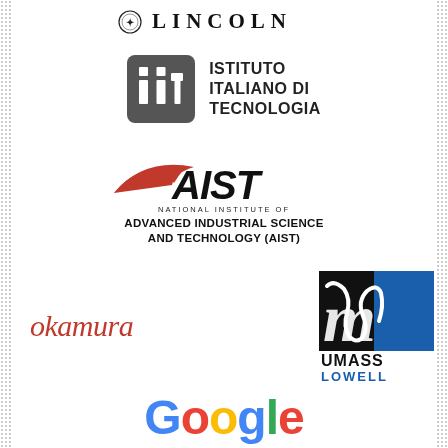[Figure (logo): University of Lincoln logo with emblem and text LINCOLN in spaced uppercase serif font]
[Figure (logo): IIT - Istituto Italiano di Tecnologia logo: grey rounded square with white 'iit' text and bold uppercase text ISTITUTO ITALIANO DI TECNOLOGIA]
[Figure (logo): AIST logo - stylized red swoosh above bold italic AIST text, with NATIONAL INSTITUTE OF ADVANCED INDUSTRIAL SCIENCE AND TECHNOLOGY (AIST)]
[Figure (logo): Okamura logo in red italic serif font on the left, UMass Lowell logo (black and blue geometric M shape with UMASS LOWELL text) on the right]
[Figure (logo): Google logo in multicolor: blue G, red o, yellow o, blue g, green l, red e]